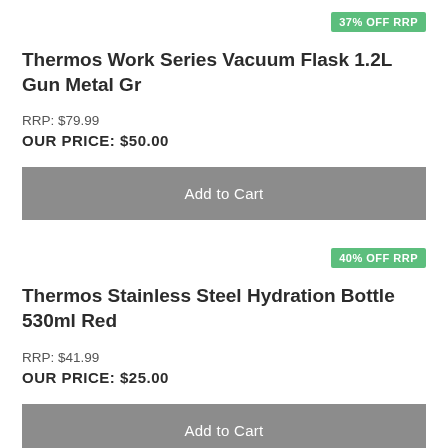37% OFF RRP
Thermos Work Series Vacuum Flask 1.2L Gun Metal Gr
RRP: $79.99
OUR PRICE: $50.00
Add to Cart
40% OFF RRP
Thermos Stainless Steel Hydration Bottle 530ml Red
RRP: $41.99
OUR PRICE: $25.00
Add to Cart
40% OFF RRP